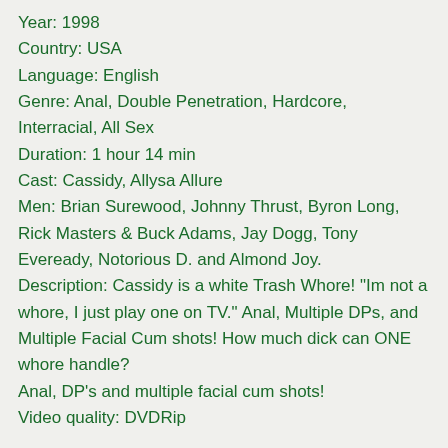Year: 1998
Country: USA
Language: English
Genre: Anal, Double Penetration, Hardcore, Interracial, All Sex
Duration: 1 hour 14 min
Cast: Cassidy, Allysa Allure
Men: Brian Surewood, Johnny Thrust, Byron Long, Rick Masters & Buck Adams, Jay Dogg, Tony Eveready, Notorious D. and Almond Joy.
Description: Cassidy is a white Trash Whore! "Im not a whore, I just play one on TV." Anal, Multiple DPs, and Multiple Facial Cum shots! How much dick can ONE whore handle?
Anal, DP's and multiple facial cum shots!
Video quality: DVDRip